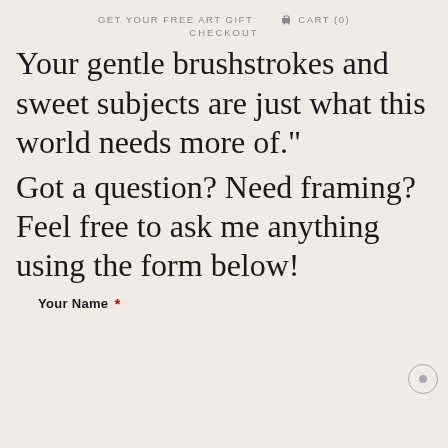GET YOUR FREE ART GIFT   🛒 CART (0)
CHECKOUT
Your gentle brushstrokes and sweet subjects are just what this world needs more of."
Got a question? Need framing? Feel free to ask me anything using the form below!
Your Name *